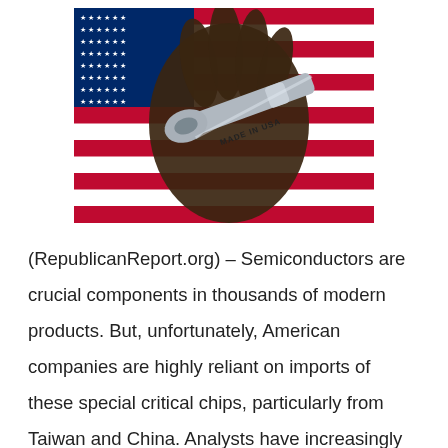[Figure (photo): A worn leather work glove holding a chrome wrench labeled 'MADE IN USA', set against an American flag background with red, white, and blue stripes and stars.]
(RepublicanReport.org) – Semiconductors are crucial components in thousands of modern products. But, unfortunately, American companies are highly reliant on imports of these special critical chips, particularly from Taiwan and China. Analysts have increasingly begun worrying about this situation, and now one